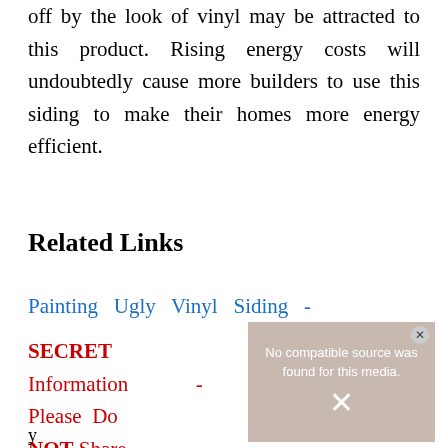off by the look of vinyl may be attracted to this product. Rising energy costs will undoubtedly cause more builders to use this siding to make their homes more energy efficient.
Related Links
Painting Ugly Vinyl Siding - SECRET Information - Please Do NOT Share
[Figure (screenshot): Video player overlay showing 'No compatible source was found for this media.' with an X close button and an X mark, overlaid on a blurred background image of a person.]